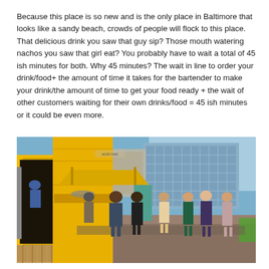Because this place is so new and is the only place in Baltimore that looks like a sandy beach, crowds of people will flock to this place. That delicious drink you saw that guy sip? Those mouth watering nachos you saw that girl eat? You probably have to wait a total of 45 ish minutes for both. Why 45 minutes? The wait in line to order your drink/food+ the amount of time it takes for the bartender to make your drink/the amount of time to get your food ready + the wait of other customers waiting for their own drinks/food = 45 ish minutes or it could be even more.
[Figure (photo): Outdoor photo of a yellow shipping container used as a food/drink stand, with a crowd of people lined up outside. A large modern office building is visible in the background against a blue sky. Bamboo fencing is visible in the foreground.]